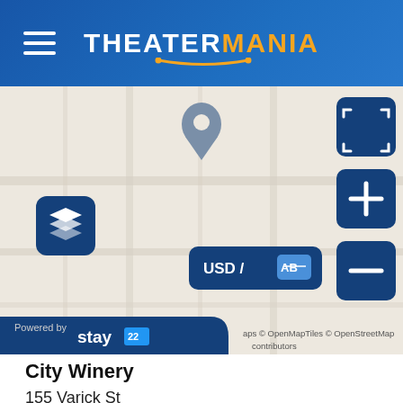THEATERMANIA
[Figure (map): Interactive map showing location of City Winery at 155 Varick St, New York, NY 10013. Map has a pin marker, layer toggle button, fullscreen button, zoom in/out buttons, and a USD/language selector. Powered by Stay22.]
City Winery
155 Varick St
New York, NY 10013
Get Directions